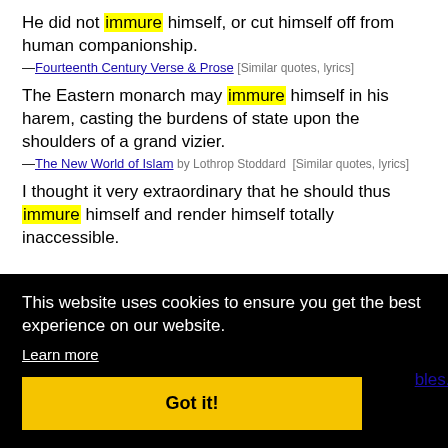He did not immure himself, or cut himself off from human companionship.
—Fourteenth Century Verse & Prose [Similar quotes, lyrics]
The Eastern monarch may immure himself in his harem, casting the burdens of state upon the shoulders of a grand vizier.
—The New World of Islam by Lothrop Stoddard [Similar quotes, lyrics]
I thought it very extraordinary that he should thus immure himself and render himself totally inaccessible.
This website uses cookies to ensure you get the best experience on our website. Learn more
Got it!